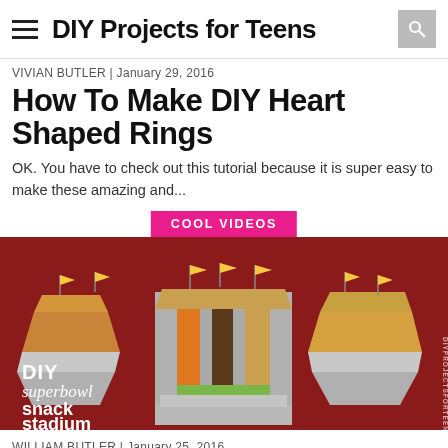DIY Projects for Teens
VIVIAN BUTLER | January 29, 2016
How To Make DIY Heart Shaped Rings
OK. You have to check out this tutorial because it is super easy to make these amazing and...
COOL VIDEOS
[Figure (photo): DIY superbowl snack stadium — a cardboard stadium-shaped snack tray filled with chips, cheese puffs, dips, and other snacks, with small yellow flags, on a red background. Text overlay reads: DIY superbowl snack stadium. Watermark: DIYPROJECTSFORTEENS.COM]
WILLIAM BUTLER | January 25, 2016